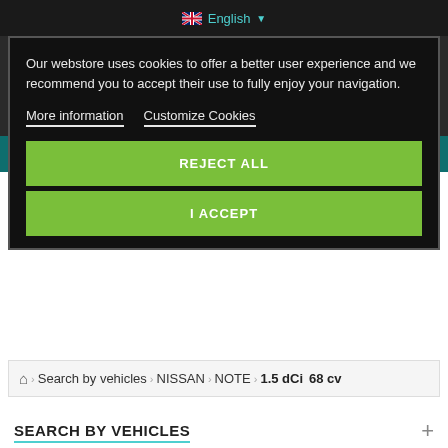English
[Figure (logo): InjecteurLand logo with car silhouette outline and text 'InjecteurLand' in serif font, subtitle 'EXPERT EN INJECTION DIESEL']
Our webstore uses cookies to offer a better user experience and we recommend you to accept their use to fully enjoy your navigation.
More information   Customize Cookies
REJECT ALL
I ACCEPT
Search by vehicles > NISSAN > NOTE > 1.5 dCi 68 cv
SEARCH BY VEHICLES